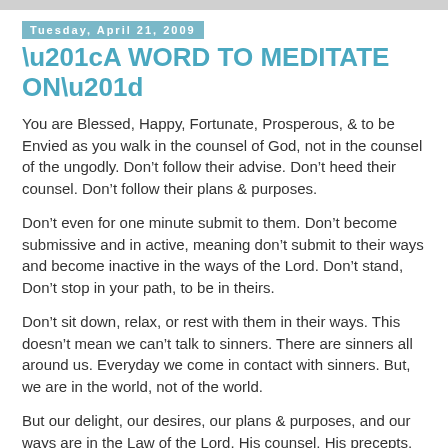Tuesday, April 21, 2009
“A WORD TO MEDITATE ON”
You are Blessed, Happy, Fortunate, Prosperous, & to be Envied as you walk in the counsel of God, not in the counsel of the ungodly. Don’t follow their advise. Don’t heed their counsel. Don’t follow their plans & purposes.
Don’t even for one minute submit to them. Don’t become submissive and in active, meaning don’t submit to their ways and become inactive in the ways of the Lord. Don’t stand, Don’t stop in your path, to be in theirs.
Don’t sit down, relax, or rest with them in their ways. This doesn’t mean we can’t talk to sinners. There are sinners all around us. Everyday we come in contact with sinners. But, we are in the world, not of the world.
But our delight, our desires, our plans & purposes, and our ways are in the Law of the Lord. His counsel, His precepts, His instructions, His teachings and His habits; we meditate...